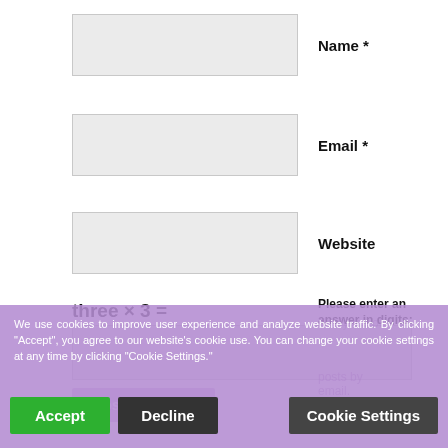Name *
Email *
Website
three × 3 =
Please enter an answer in digits:
Notify me of
posts by email.
Post Comment
We use cookies to improve user experience and analyze website traffic. By clicking "Accept", you agree to our website's cookie use. You can change your cookie settings at any time by clicking "Cookie Settings."